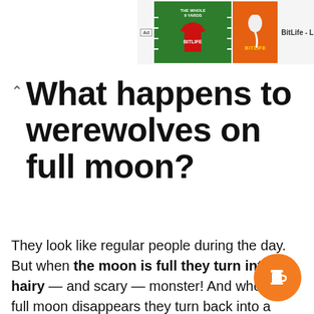[Figure (screenshot): BitLife app advertisement banner with green football jersey image and orange sperm/BitLife logo, with 'Ad' badge and 'BitLife - Life S' text]
What happens to werewolves on full moon?
They look like regular people during the day. But when the moon is full they turn into a hairy — and scary — monster! And when the full moon disappears they turn back into a person.
[Figure (illustration): Orange circular button with white coffee cup icon (Buy Me a Coffee style button)]